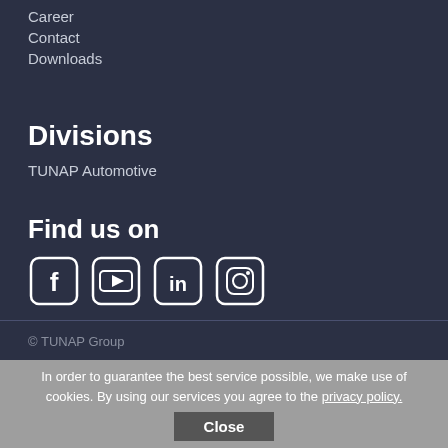Career
Contact
Downloads
Divisions
TUNAP Automotive
Find us on
[Figure (illustration): Social media icons: Facebook, YouTube, LinkedIn, Instagram — white rounded-square outlines on dark background]
© TUNAP Group
In order to guarantee the best service possible, we make use of cookies. By using our services you agree to the privacy policy.
Close